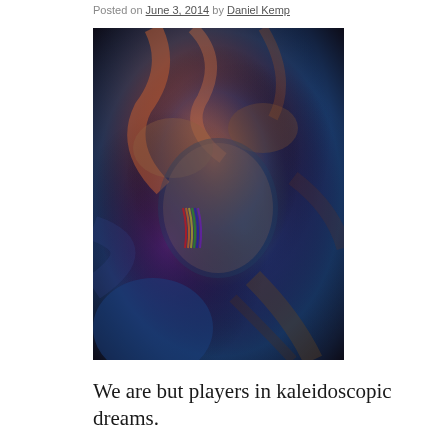Posted on June 3, 2014 by Daniel Kemp
[Figure (photo): A blurred, kaleidoscopic photograph of a person with hands near their face and flowing hair, with cool blue and warm orange/red tones creating a dreamlike effect.]
We are but players in kaleidoscopic dreams.